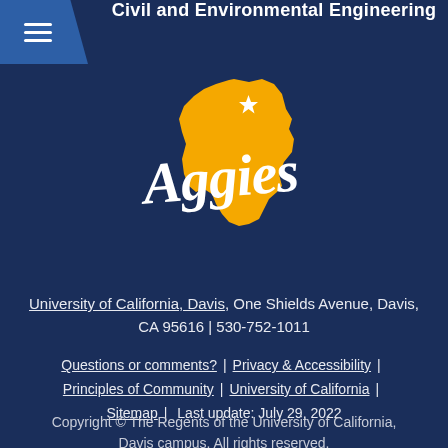Civil and Environmental Engineering
[Figure (logo): UC Davis Aggies logo: gold California state silhouette with a white star and white cursive 'Aggies' text overlaid]
University of California, Davis, One Shields Avenue, Davis, CA 95616 | 530-752-1011
Questions or comments? | Privacy & Accessibility | Principles of Community | University of California | Sitemap | Last update: July 29, 2022
Copyright © The Regents of the University of California, Davis campus. All rights reserved.